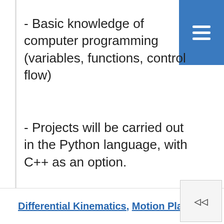- Basic knowledge of computer programming (variables, functions, control flow)
- Projects will be carried out in the Python language, with C++ as an option.
This website uses cookies to help us provide you a better experience. By clicking any link on this page you are giving your consent for us to set cookies. Learn more
Got it!
Differential Kinematics, Motion Planning